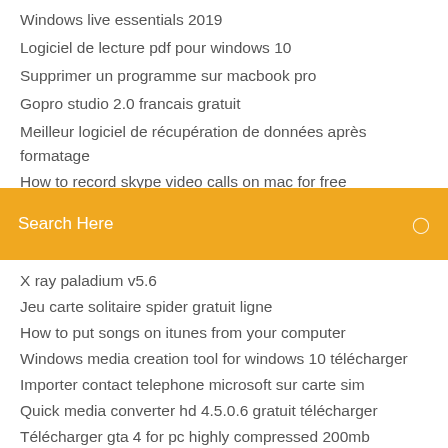Windows live essentials 2019
Logiciel de lecture pdf pour windows 10
Supprimer un programme sur macbook pro
Gopro studio 2.0 francais gratuit
Meilleur logiciel de récupération de données après formatage
How to record skype video calls on mac for free (partial)
[Figure (screenshot): Orange/yellow search bar with text 'Search Here' and a search icon on the right]
X ray paladium v5.6
Jeu carte solitaire spider gratuit ligne
How to put songs on itunes from your computer
Windows media creation tool for windows 10 télécharger
Importer contact telephone microsoft sur carte sim
Quick media converter hd 4.5.0.6 gratuit télécharger
Télécharger gta 4 for pc highly compressed 200mb
Sid meiers civilization vi rise and fall обзор